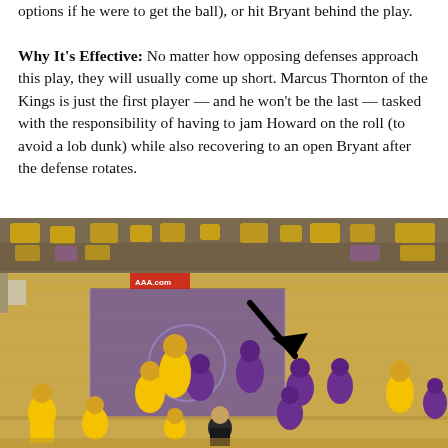options if he were to get the ball), or hit Bryant behind the play.

Why It's Effective: No matter how opposing defenses approach this play, they will usually come up short. Marcus Thornton of the Kings is just the first player — and he won't be the last — tasked with the responsibility of having to jam Howard on the roll (to avoid a lob dunk) while also recovering to an open Bryant after the defense rotates.
[Figure (photo): Basketball game photo showing Lakers (yellow) vs Kings (purple) players on the court at Staples Center, with a black arrow pointing to a player moving toward the paint.]